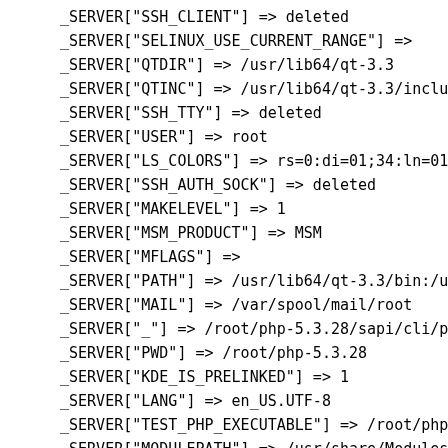_SERVER["SSH_CLIENT"] => deleted
_SERVER["SELINUX_USE_CURRENT_RANGE"] =>
_SERVER["QTDIR"] => /usr/lib64/qt-3.3
_SERVER["QTINC"] => /usr/lib64/qt-3.3/inclu
_SERVER["SSH_TTY"] => deleted
_SERVER["USER"] => root
_SERVER["LS_COLORS"] => rs=0:di=01;34:ln=01
_SERVER["SSH_AUTH_SOCK"] => deleted
_SERVER["MAKELEVEL"] => 1
_SERVER["MSM_PRODUCT"] => MSM
_SERVER["MFLAGS"] =>
_SERVER["PATH"] => /usr/lib64/qt-3.3/bin:/u
_SERVER["MAIL"] => /var/spool/mail/root
_SERVER["_"] => /root/php-5.3.28/sapi/cli/p
_SERVER["PWD"] => /root/php-5.3.28
_SERVER["KDE_IS_PRELINKED"] => 1
_SERVER["LANG"] => en_US.UTF-8
_SERVER["TEST_PHP_EXECUTABLE"] => /root/php
_SERVER["MODULEPATH"] => /usr/share/Modules